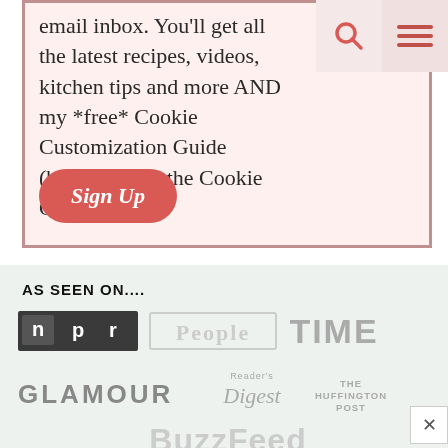email inbox. You'll get all the latest recipes, videos, kitchen tips and more AND my *free* Cookie Customization Guide (because I am the Cookie Queen)!
[Figure (screenshot): Sign Up button - red rounded rectangle with cursive 'Sign Up' text in white]
AS SEEN ON....
[Figure (logo): Media logos: NPR, People, TIME, GLAMOUR, Reader's Digest, The Huffington Post, BuzzFeed]